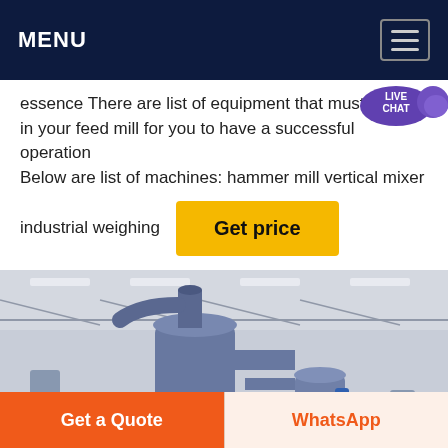MENU
essence There are list of equipment that must be present in your feed mill for you to have a successful operation Below are list of machines: hammer mill vertical mixer
industrial weighing
Get price
[Figure (photo): Industrial machinery — cyclone dust collector / feed mill equipment installed inside a large industrial warehouse with steel roof trusses and fluorescent lighting]
Get a Quote
WhatsApp